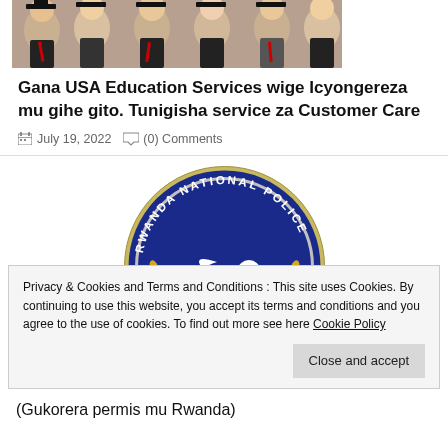[Figure (photo): Graduation photo showing students in caps and gowns, smiling]
Gana USA Education Services wige Icyongereza mu gihe gito. Tunigisha service za Customer Care
July 19, 2022   (0) Comments
[Figure (logo): Rwanda National Police official seal/logo - circular blue badge with white dove and olive branches, gold text reading RWANDA NATIONAL POLICE]
Privacy & Cookies and Terms and Conditions : This site uses Cookies. By continuing to use this website, you accept its terms and conditions and you agree to the use of cookies. To find out more see here Cookie Policy
(Gukorera permis mu Rwanda)